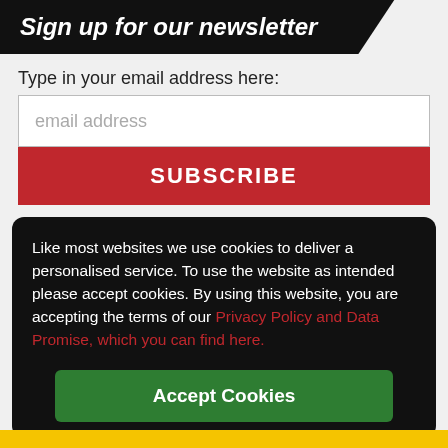Sign up for our newsletter
Type in your email address here:
email address
SUBSCRIBE
Like most websites we use cookies to deliver a personalised service. To use the website as intended please accept cookies. By using this website, you are accepting the terms of our Privacy Policy and Data Promise, which you can find here.
Accept Cookies